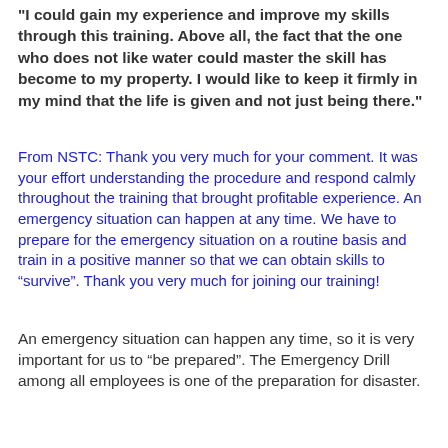"I could gain my experience and improve my skills through this training.  Above all, the fact that the one who does not like water could master the skill has become to my property.  I would like to keep it firmly in my mind that the life is given and not just being there."
From NSTC:  Thank you very much for your comment.  It was your effort understanding the procedure and respond calmly throughout the training that brought profitable experience.  An emergency situation can happen at any time.  We have to prepare for the emergency situation on a routine basis and train in a positive manner so that we can obtain skills to “survive”.  Thank you very much for joining our training!
An emergency situation can happen any time, so it is very important for us to “be prepared”.  The Emergency Drill among all employees is one of the preparation for disaster.